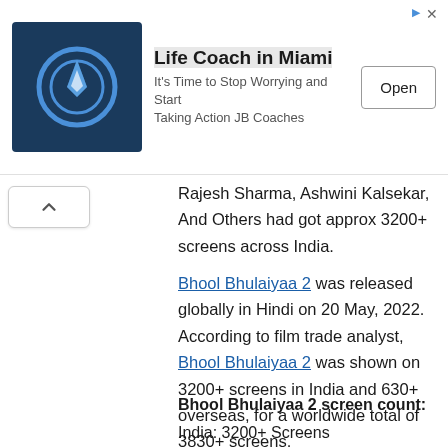[Figure (other): Advertisement banner for 'Life Coach in Miami' with a dark blue compass icon, bold title text, subtitle 'It’s Time to Stop Worrying and Start Taking Action JB Coaches', and an 'Open' button. Top-right shows a small ad indicator arrow and close 'x' icon.]
Rajesh Sharma, Ashwini Kalsekar, And Others had got approx 3200+ screens across India.
Bhool Bhulaiyaa 2 was released globally in Hindi on 20 May, 2022. According to film trade analyst, Bhool Bhulaiyaa 2 was shown on 3200+ screens in India and 630+ overseas, for a worldwide total of 3830+ screens.
Bhool Bhulaiyaa 2 screen count:
India: 3200+ Screens